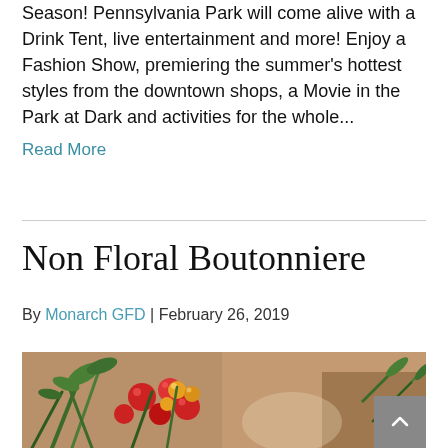Season! Pennsylvania Park will come alive with a Drink Tent, live entertainment and more! Enjoy a Fashion Show, premiering the summer's hottest styles from the downtown shops, a Movie in the Park at Dark and activities for the whole...
Read More
Non Floral Boutonniere
By Monarch GFD | February 26, 2019
[Figure (photo): Close-up photo of a boutonniere with red and yellow berries, green stems and foliage on a warm brown background]